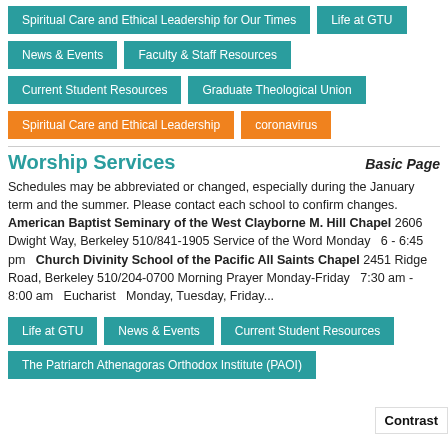Spiritual Care and Ethical Leadership for Our Times
Life at GTU
News & Events
Faculty & Staff Resources
Current Student Resources
Graduate Theological Union
Spiritual Care and Ethical Leadership
coronavirus
Worship Services
Basic Page
Schedules may be abbreviated or changed, especially during the January term and the summer. Please contact each school to confirm changes. American Baptist Seminary of the West Clayborne M. Hill Chapel 2606 Dwight Way, Berkeley 510/841-1905 Service of the Word Monday   6 - 6:45 pm   Church Divinity School of the Pacific All Saints Chapel 2451 Ridge Road, Berkeley 510/204-0700 Morning Prayer Monday-Friday   7:30 am - 8:00 am   Eucharist   Monday, Tuesday, Friday...
Life at GTU
News & Events
Current Student Resources
The Patriarch Athenagoras Orthodox Institute (PAOI)